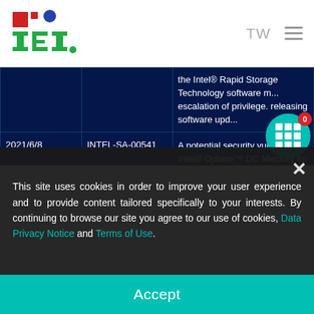IEI TW [hamburger menu]
| Date | ID | Description |
| --- | --- | --- |
|  |  | the Intel® Rapid Storage Technology software m... escalation of privilege. releasing software upd... |
| 2021/6/8 | INTEL-SA-00541 | A potential security vul... the Intel® Optane™ DC Memory for Windows s... allow escalation of priv... is releas...mo |
| 2021/6/8 | INTEL-SA-00537 | A potential security vul... |
This site uses cookies in order to improve your user experience and to provide content tailored specifically to your interests. By continuing to browse our site you agree to our use of cookies, Data Privacy Notice and Terms of Use.
Accept